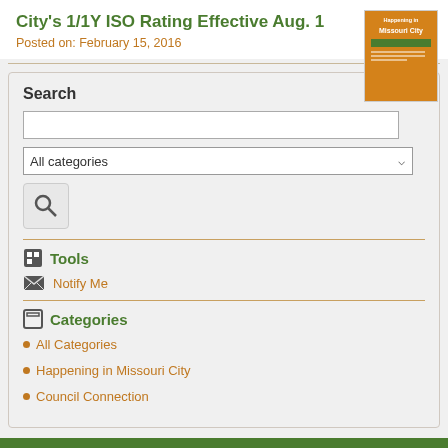City's 1/1Y ISO Rating Effective Aug. 1
Posted on: February 15, 2016
Search
Tools
Notify Me
Categories
All Categories
Happening in Missouri City
Council Connection